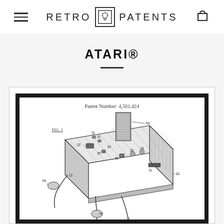RETRO PATENTS
ATARI®
[Figure (engineering-diagram): Patent drawing of Atari game console (Patent Number: 4,501,424), showing a perspective view of the console with labeled components including joystick controllers (69, 79), cartridge slot (50), various switches and ports (20, 21, 22, 31, 32, 33, 34, 35, 36), and chassis (10, 13). Labeled FIG. 1.]